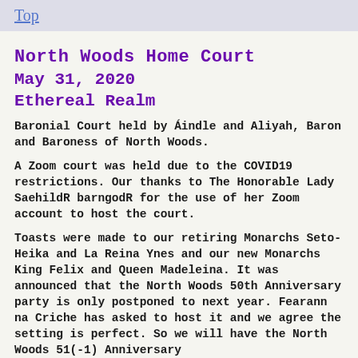Top
North Woods Home Court
May 31, 2020
Ethereal Realm
Baronial Court held by Áindle and Aliyah, Baron and Baroness of North Woods.
A Zoom court was held due to the COVID19 restrictions. Our thanks to The Honorable Lady SaehildR barngodR for the use of her Zoom account to host the court.
Toasts were made to our retiring Monarchs Seto-Heika and La Reina Ynes and our new Monarchs King Felix and Queen Madeleina. It was announced that the North Woods 50th Anniversary party is only postponed to next year. Fearann na Criche has asked to host it and we agree the setting is perfect. So we will have the North Woods 51(-1) Anniversary